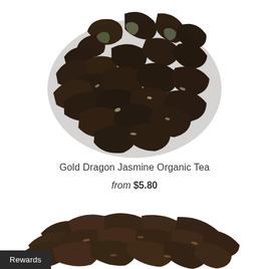[Figure (photo): Pile of dark green-black loose leaf jasmine organic tea leaves, arranged in a roughly circular mound, photographed from above on a white background]
Gold Dragon Jasmine Organic Tea
from $5.80
[Figure (photo): Pile of dark brown-black loose leaf tea, elongated twisted leaves, photographed on white background, partially cut off at bottom]
Rewards